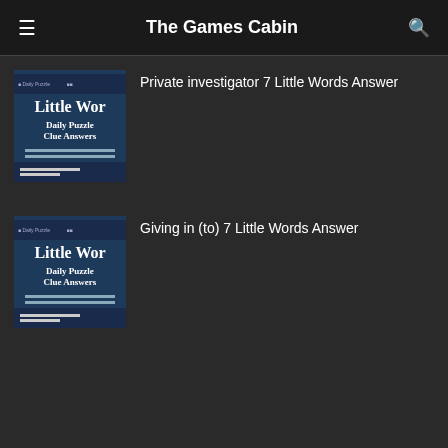The Games Cabin
[Figure (illustration): Thumbnail image showing '7 Little Words Daily Puzzle Clue Answers' book cover graphic]
Private investigator 7 Little Words Answer
[Figure (illustration): Thumbnail image showing '7 Little Words Daily Puzzle Clue Answers' book cover graphic]
Giving in (to) 7 Little Words Answer
Related Posts